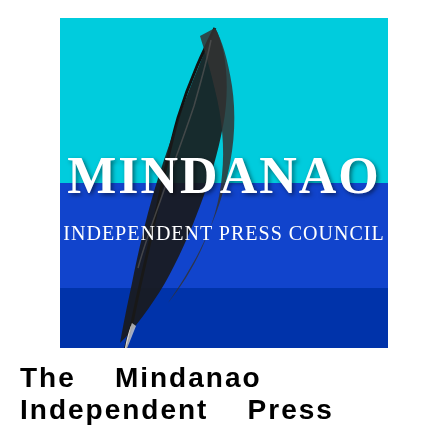[Figure (logo): Mindanao Independent Press Council logo. Square logo with cyan upper half and royal blue lower half background. A large black quill feather pen overlaps both halves on the left side. White bold text reads 'MINDANAO' across the middle, and 'INDEPENDENT PRESS COUNCIL' in smaller white text below on the blue section.]
The   Mindanao   Independent   Press